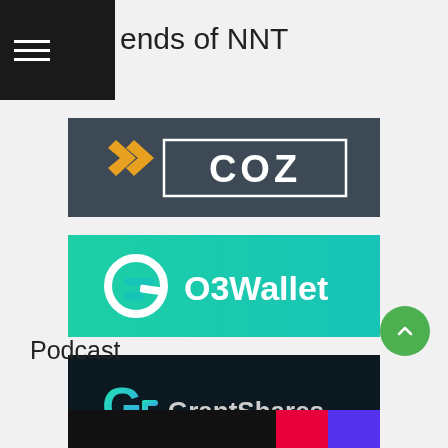ends of NNT
[Figure (logo): COZ logo — dark slate background with stylized arrow/chevron icon and 'COZ' text in a white rectangle]
[Figure (logo): O3Wallet logo — teal/green gradient background with circular Q3 icon and 'O3Wallet' white text]
[Figure (logo): GrantShares logo — dark navy background with gradient G icon and 'GrantShares' white text]
Podcast
[Figure (screenshot): Podcast banner strip — dark background with colored accent blocks (red, blue/purple) on the right]